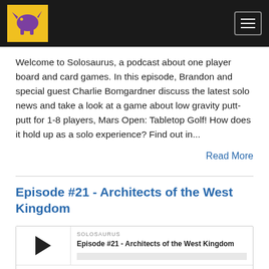Solosaurus podcast site header with logo and hamburger menu
Welcome to Solosaurus, a podcast about one player board and card games. In this episode, Brandon and special guest Charlie Bomgardner discuss the latest solo news and take a look at a game about low gravity putt-putt for 1-8 players, Mars Open: Tabletop Golf! How does it hold up as a solo experience? Find out in...
Read More
Episode #21 - Architects of the West Kingdom
[Figure (screenshot): Podcast player widget showing Episode #21 - Architects of the West Kingdom with play button, SOLOSAURUS label, episode title, progress bar, timer 00:00:00, and control icons for RSS, download, embed, and notifications]